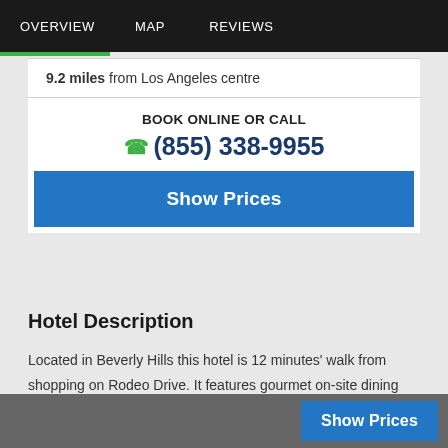OVERVIEW   MAP   REVIEWS
9.2 miles from Los Angeles centre
BOOK ONLINE OR CALL
(855) 338-9955
Show Prices
Hotel Description
Located in Beverly Hills this hotel is 12 minutes' walk from shopping on Rodeo Drive. It features gourmet on-site dining options a full-service spa and spacious guest rooms
Show Prices